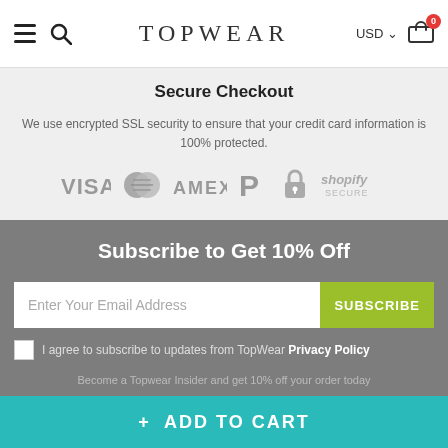TOPWEAR — USD — Cart (0)
Secure Checkout
We use encrypted SSL security to ensure that your credit card information is 100% protected.
[Figure (logo): Payment logos: VISA, Mastercard, AMEX, PayPal, padlock, Shopify Secure]
Subscribe to Get 10% Off
Enter Your Email Address — SUBSCRIBE button
I agree to subscribe to updates from TopWear Privacy Policy
Become a Topwear Insider and get 10% off your order today
+ ADD TO CART